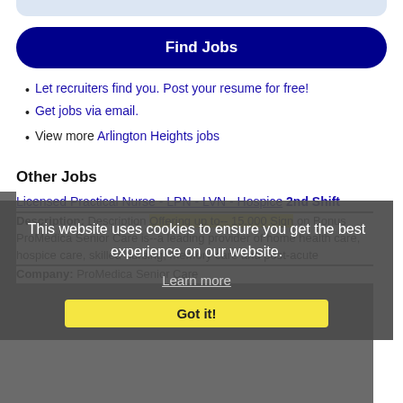[Figure (screenshot): Top bar / search field area (partially visible, light blue rounded bar)]
Find Jobs
Let recruiters find you. Post your resume for free!
Get jobs via email.
View more Arlington Heights jobs
Other Jobs
Licensed Practical Nurse - LPN - LVN - Hospice 2nd Shift
Description: Description Offering up to-- 15,000 Sign on Bonus ProMedica Senior Care is--a leading provider of home health care, hospice care, skilled nursing, memory care and post-acute
Company: ProMedica Senior Care
This website uses cookies to ensure you get the best experience on our website.
Learn more
Got it!